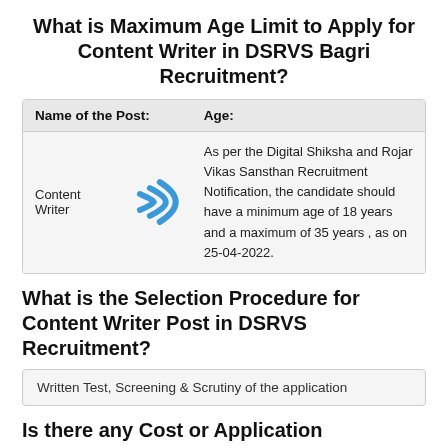What is Maximum Age Limit to Apply for Content Writer in DSRVS Bagri Recruitment?
| Name of the Post: | Age: |
| --- | --- |
| Content Writer | As per the Digital Shiksha and Rojar Vikas Sansthan Recruitment Notification, the candidate should have a minimum age of 18 years and a maximum of 35 years , as on 25-04-2022. |
What is the Selection Procedure for Content Writer Post in DSRVS Recruitment?
Written Test, Screening & Scrutiny of the application
Is there any Cost or Application